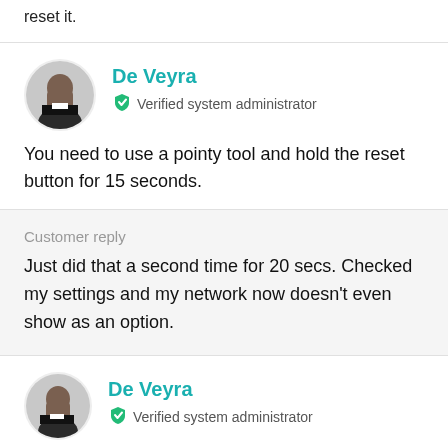reset it.
De Veyra
Verified system administrator
You need to use a pointy tool and hold the reset button for 15 seconds.
Customer reply
Just did that a second time for 20 secs. Checked my settings and my network now doesn't even show as an option.
De Veyra
Verified system administrator